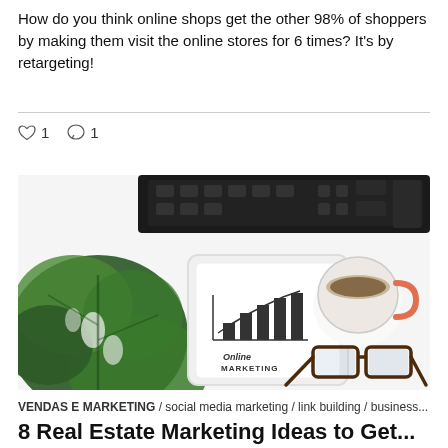How do you think online shops get the other 98% of shoppers by making them visit the online stores for 6 times? It's by retargeting!
♡ 1   ○ 1
[Figure (photo): Flat lay photo of a desk with a monstera leaf, keyboard, tablet displaying 'Online Marketing' with a bar chart sketch, coffee cup, and glasses on a white surface.]
VENDAS E MARKETING / social media marketing / link building / business...
8 Real Estate Marketing Ideas to Get...